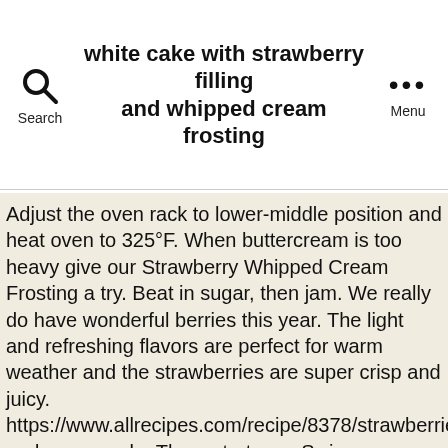white cake with strawberry filling and whipped cream frosting
Adjust the oven rack to lower-middle position and heat oven to 325°F. When buttercream is too heavy give our Strawberry Whipped Cream Frosting a try. Beat in sugar, then jam. We really do have wonderful berries this year. The light and refreshing flavors are perfect for warm weather and the strawberries are super crisp and juicy. https://www.allrecipes.com/recipe/8378/strawberries-and-cream-cake Then, start your Swiss buttercream frosting. Frost the entire cake â¦ This is a light frosting and it is not super stable, so you have to be gentle with it, especially if you make it as a layer cake. Meanwhile, make the strawberry whipped cream filling. In a large saucepan, whisk together water and cornstarch until smooth. Once the puree thickens, remove from the heat. It is one of the most classic dessert combinations of all time. Mix on low speed just until dry ingredients are incorporated. Mix in the sugar. For the frosting, beat cream cheese and butter